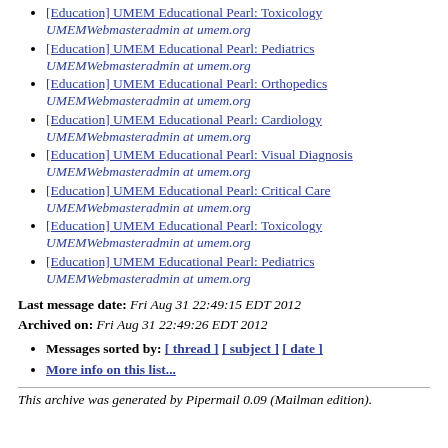[Education] UMEM Educational Pearl: Toxicology UMEMWebmasteradmin at umem.org
[Education] UMEM Educational Pearl: Pediatrics UMEMWebmasteradmin at umem.org
[Education] UMEM Educational Pearl: Orthopedics UMEMWebmasteradmin at umem.org
[Education] UMEM Educational Pearl: Cardiology UMEMWebmasteradmin at umem.org
[Education] UMEM Educational Pearl: Visual Diagnosis UMEMWebmasteradmin at umem.org
[Education] UMEM Educational Pearl: Critical Care UMEMWebmasteradmin at umem.org
[Education] UMEM Educational Pearl: Toxicology UMEMWebmasteradmin at umem.org
[Education] UMEM Educational Pearl: Pediatrics UMEMWebmasteradmin at umem.org
Last message date: Fri Aug 31 22:49:15 EDT 2012
Archived on: Fri Aug 31 22:49:26 EDT 2012
Messages sorted by: [ thread ] [ subject ] [ date ]
More info on this list...
This archive was generated by Pipermail 0.09 (Mailman edition).